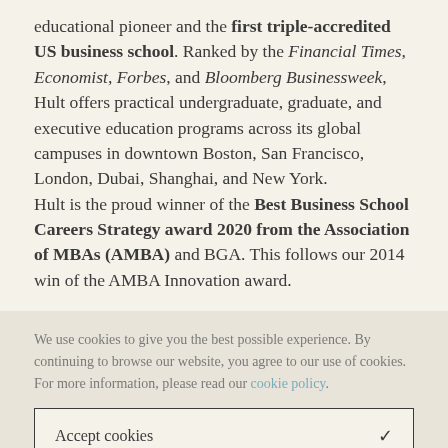educational pioneer and the first triple-accredited US business school. Ranked by the Financial Times, Economist, Forbes, and Bloomberg Businessweek, Hult offers practical undergraduate, graduate, and executive education programs across its global campuses in downtown Boston, San Francisco, London, Dubai, Shanghai, and New York.
Hult is the proud winner of the Best Business School Careers Strategy award 2020 from the Association of MBAs (AMBA) and BGA. This follows our 2014 win of the AMBA Innovation award.
We use cookies to give you the best possible experience. By continuing to browse our website, you agree to our use of cookies. For more information, please read our cookie policy.
Accept cookies